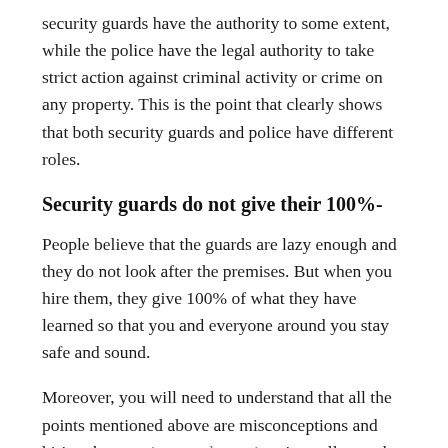security guards have the authority to some extent, while the police have the legal authority to take strict action against criminal activity or crime on any property. This is the point that clearly shows that both security guards and police have different roles.
Security guards do not give their 100%-
People believe that the guards are lazy enough and they do not look after the premises. But when you hire them, they give 100% of what they have learned so that you and everyone around you stay safe and sound.
Moreover, you will need to understand that all the points mentioned above are misconceptions and hiring the security guards services is totally worth it. We all know that crimes don't happen every day, but when something happens, you will at least have a team that can stop the